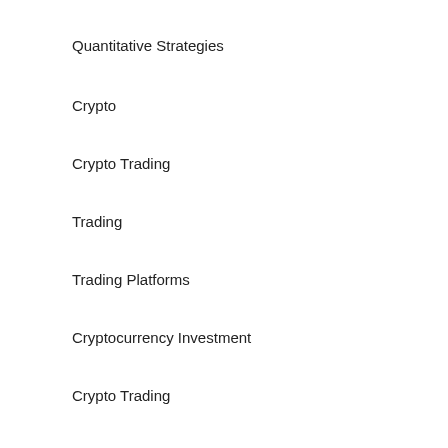Quantitative Strategies
Crypto
Crypto Trading
Trading
Trading Platforms
Cryptocurrency Investment
Crypto Trading
ICO
Blockchain